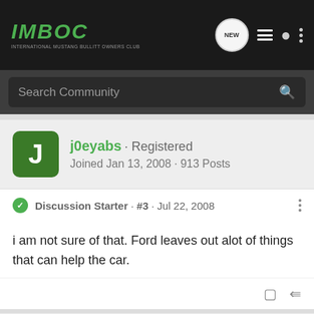IMBOC - International Mustang Bullitt Owners Club
Search Community
j0eyabs · Registered
Joined Jan 13, 2008 · 913 Posts
Discussion Starter · #3 · Jul 22, 2008
i am not sure of that. Ford leaves out alot of things that can help the car.
RCSignals · Registered